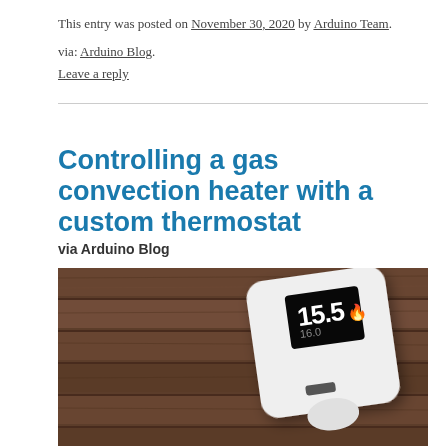This entry was posted on November 30, 2020 by Arduino Team.
via: Arduino Blog.
Leave a reply
Controlling a gas convection heater with a custom thermostat
via Arduino Blog
[Figure (photo): A white square custom thermostat device with OLED display showing 15.5 and 16.0, resting against a wooden background. The device has a small button and a round knob at the bottom.]